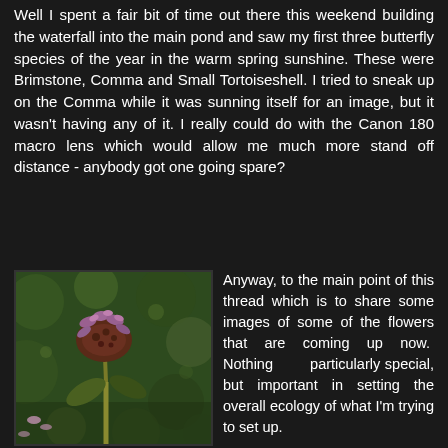Well I spent a fair bit of time out there this weekend building the waterfall into the main pond and saw my first three butterfly species of the year in the warm spring sunshine. These were Brimstone, Comma and Small Tortoiseshell. I tried to sneak up on the Comma while it was sunning itself for an image, but it wasn't having any of it. I really could do with the Canon 180 macro lens which would allow me much more stand off distance - anybody got one going spare?
[Figure (photo): Close-up photograph of a purple/pink flower (appears to be a dead nettle or similar plant) against a blurred green background. The flower head has multiple small blooms and the stem is visible.]
Anyway, to the main point of this thread which is to share some images of some of the flowers that are coming up now. Nothing particularly special, but important in setting the overall ecology of what I'm trying to set up.